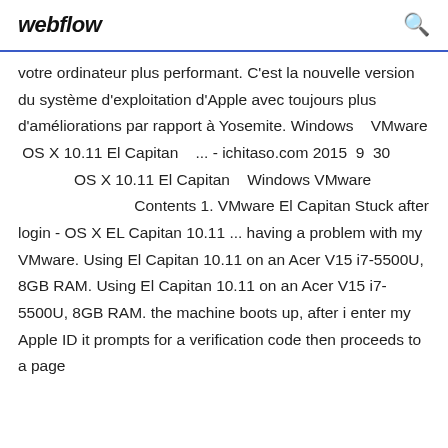webflow [search icon]
votre ordinateur plus performant. C'est la nouvelle version du système d'exploitation d'Apple avec toujours plus d'améliorations par rapport à Yosemite. Windows   VMware  OS X 10.11 El Capitan   ... - ichitaso.com 2015  9  30               OS X 10.11 El Capitan   Windows VMware                              Contents 1. VMware El Capitan Stuck after login - OS X EL Capitan 10.11 ... having a problem with my VMware. Using El Capitan 10.11 on an Acer V15 i7-5500U, 8GB RAM. Using El Capitan 10.11 on an Acer V15 i7-5500U, 8GB RAM. the machine boots up, after i enter my Apple ID it prompts for a verification code then proceeds to a page